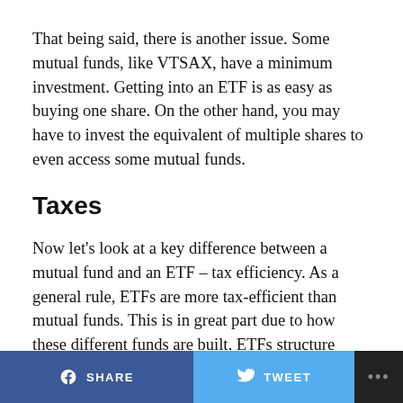That being said, there is another issue. Some mutual funds, like VTSAX, have a minimum investment. Getting into an ETF is as easy as buying one share. On the other hand, you may have to invest the equivalent of multiple shares to even access some mutual funds.
Taxes
Now let's look at a key difference between a mutual fund and an ETF – tax efficiency. As a general rule, ETFs are more tax-efficient than mutual funds. This is in great part due to how these different funds are built. ETFs structure investor share balancing, specifically whether these are counted as an open-ended or closed-ended fund.
What is the difference between an open-ended and
SHARE   TWEET   ...